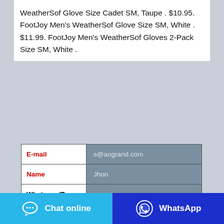WeatherSof Glove Size Cadet SM, Taupe . $10.95. FootJoy Men's WeatherSof Glove Size SM, White . $11.99. FootJoy Men's WeatherSof Gloves 2-Pack Size SM, White .
| Field | Value |
| --- | --- |
| E-mail | s@aogrand.com |
| Name | Jhon |
| Whatsapp/Te |  |
| Country | USA |
| Message | Your message... |
Chat online
WhatsApp